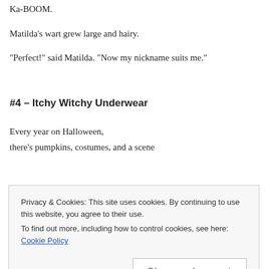Ka-BOOM.
Matilda's wart grew large and hairy.
“Perfect!” said Matilda. “Now my nickname suits me.”
#4 – Itchy Witchy Underwear
Every year on Halloween,
there’s pumpkins, costumes, and a scene
Privacy & Cookies: This site uses cookies. By continuing to use this website, you agree to their use.
To find out more, including how to control cookies, see here: Cookie Policy
Close and accept